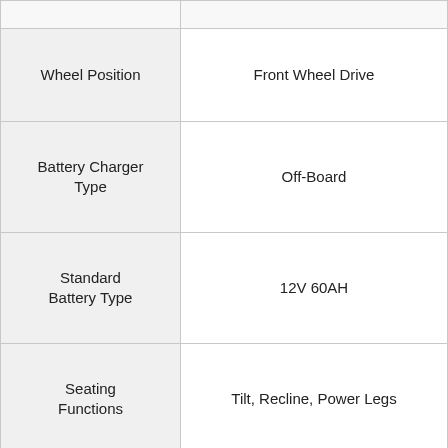| Feature | Value |
| --- | --- |
| Wheel Position | Front Wheel Drive |
| Battery Charger Type | Off-Board |
| Standard Battery Type | 12V 60AH |
| Seating Functions | Tilt, Recline, Power Legs |
| Seating Features | Contoured Headrest, Seatbelt, Padded Armrest, Transit Kit, Bluetooth Enabled Joystick, Anti-Tip Wheels, Contoured Backrest, Roho |